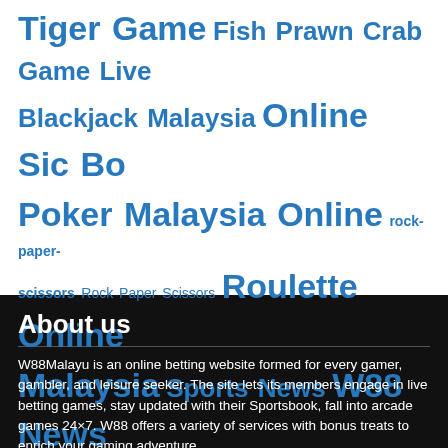Tiger Game Fish Prawn Crab Game Live Blackjack Malaysia Online Sic Bo Poker Malaysia Online rock-paper-scissors Rock Paper Scissors Roulette Online Malaysia Sports News W88 News Blog
About us
W88Malayu is an online betting website formed for every gamer, gambler, and leisure seeker. The site lets its members engage in live betting games, stay updated with their Sportsbook, fall into arcade games 24×7. W88 offers a variety of services with bonus treats to enrich your gaming adventure.
Main sponsor